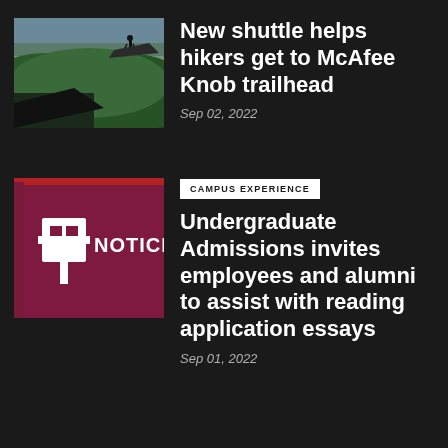[Figure (photo): Aerial/scenic mountain landscape photo with a hiker silhouette on a cliff edge, green forested hills and valleys in background]
New shuttle helps hikers get to McAfee Knob trailhead
Sep 02, 2022
[Figure (logo): Maroon/crimson background with white pushpin icon and text NOTICE partially visible]
CAMPUS EXPERIENCE
Undergraduate Admissions invites employees and alumni to assist with reading application essays
Sep 01, 2022